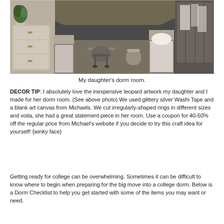[Figure (photo): Interior photo of a college dorm room showing two beds, a desk with a chair, a dresser, and personal items. The room is narrow with a corridor-like layout and carpeted floor.]
My daughter's dorm room.
DECOR TIP: I absolutely love the inexpensive leopard artwork my daughter and I made for her dorm room. (See above photo) We used glittery silver Washi Tape and a blank art canvas from Michaels. We cut irregularly-shaped rings in different sizes and voila, she had a great statement piece in her room. Use a coupon for 40-50% off the regular price from Michael's website if you decide to try this craft idea for yourself! {winky face}
Getting ready for college can be overwhelming. Sometimes it can be difficult to know where to begin when preparing for the big move into a college dorm. Below is a Dorm Checklist to help you get started with some of the items you may want or need.